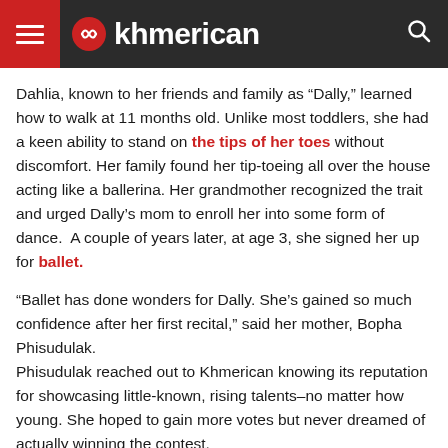khmerican
Dahlia, known to her friends and family as “Dally,” learned how to walk at 11 months old. Unlike most toddlers, she had a keen ability to stand on the tips of her toes without discomfort. Her family found her tip-toeing all over the house acting like a ballerina. Her grandmother recognized the trait and urged Dally’s mom to enroll her into some form of dance.  A couple of years later, at age 3, she signed her up for ballet.
“Ballet has done wonders for Dally. She’s gained so much confidence after her first recital,” said her mother, Bopha Phisudulak.
Phisudulak reached out to Khmerican knowing its reputation for showcasing little-known, rising talents–no matter how young. She hoped to gain more votes but never dreamed of actually winning the contest.